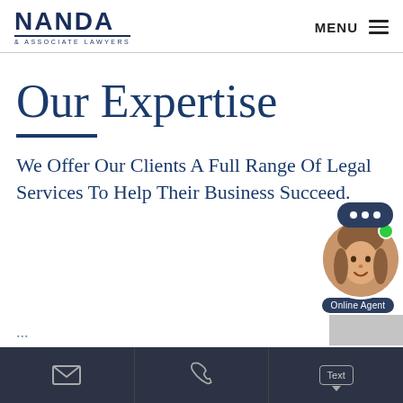[Figure (logo): NANDA & Associate Lawyers logo with dark navy text]
Our Expertise
We Offer Our Clients A Full Range Of Legal Services To Help Their Business Succeed.
[Figure (other): Online chat agent widget with female avatar, chat bubble with dots, green online indicator, and 'Online Agent' label]
Email icon | Phone icon | Text button